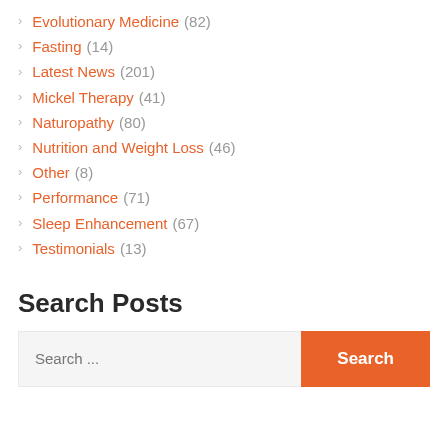Evolutionary Medicine (82)
Fasting (14)
Latest News (201)
Mickel Therapy (41)
Naturopathy (80)
Nutrition and Weight Loss (46)
Other (8)
Performance (71)
Sleep Enhancement (67)
Testimonials (13)
Search Posts
Search ...